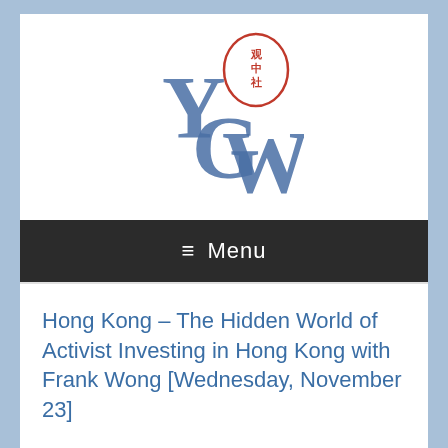[Figure (logo): YCW logo with Chinese characters in a red oval stamp, blue serif letters Y, C, W]
≡ Menu
Hong Kong – The Hidden World of Activist Investing in Hong Kong with Frank Wong [Wednesday, November 23]
Activist investing – the practice of buying a significant